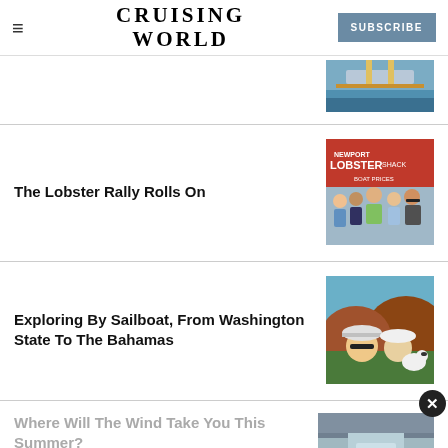CRUISING WORLD | SUBSCRIBE
The Lobster Rally Rolls On
[Figure (photo): Group of people standing in front of Newport Lobster Shack sign with Boat Prices text]
Exploring By Sailboat, From Washington State To The Bahamas
[Figure (photo): Two people and a dog taking a selfie outdoors with reddish-brown cliffs]
Where Will The Wind Take You This Summer?
[Figure (photo): Aerial view of a waterway or canal]